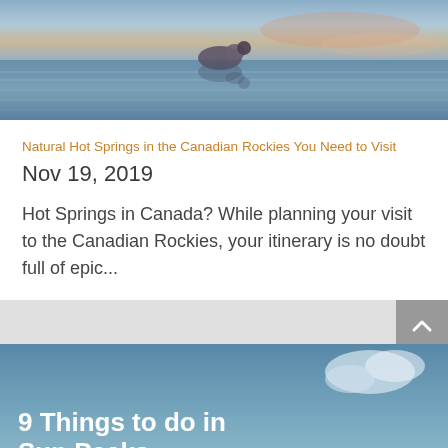[Figure (photo): A bird or animal partially submerged in calm water with reflections of blue sky and orange sunset tones.]
Natural Hot Springs in the Canadian Rockies You Need to Visit
Nov 19, 2019
Hot Springs in Canada? While planning your visit to the Canadian Rockies, your itinerary is no doubt full of epic...
[Figure (photo): 9 Things to do in Sun Peaks — text overlaid on a sky background with a person visible at the bottom.]